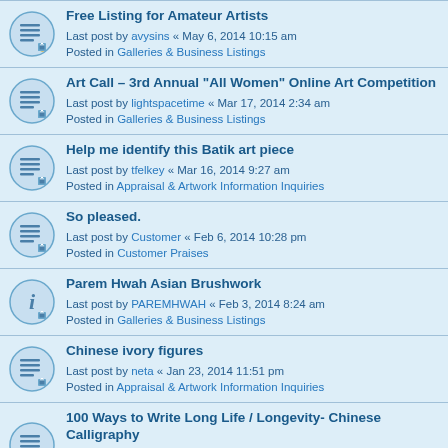Free Listing for Amateur Artists
Last post by avysins « May 6, 2014 10:15 am
Posted in Galleries & Business Listings
Art Call – 3rd Annual "All Women" Online Art Competition
Last post by lightspacetime « Mar 17, 2014 2:34 am
Posted in Galleries & Business Listings
Help me identify this Batik art piece
Last post by tfelkey « Mar 16, 2014 9:27 am
Posted in Appraisal & Artwork Information Inquiries
So pleased.
Last post by Customer « Feb 6, 2014 10:28 pm
Posted in Customer Praises
Parem Hwah Asian Brushwork
Last post by PAREMHWAH « Feb 3, 2014 8:24 am
Posted in Galleries & Business Listings
Chinese ivory figures
Last post by neta « Jan 23, 2014 11:51 pm
Posted in Appraisal & Artwork Information Inquiries
100 Ways to Write Long Life / Longevity- Chinese Calligraphy
Last post by helenannchang « Jan 12, 2014 5:31 pm
Posted in Artwork Inventory Inquiries & Custom Requests
Call for Entries – 3rd Annual All Photography Online Art Com
Last post by lightspacetime « Dec 25, 2013 9:25 am
Posted in Galleries & Business Listings